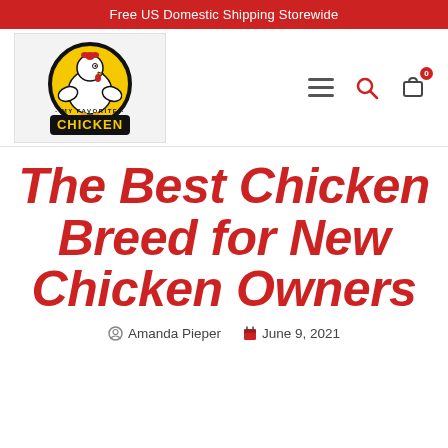Free US Domestic Shipping Storewide
[Figure (logo): My Favorite Chicken logo — muscular cartoon chicken character in a yellow and black circular badge with text 'MY FAVORITE CHICKEN']
The Best Chicken Breed for New Chicken Owners
Amanda Pieper   June 9, 2021